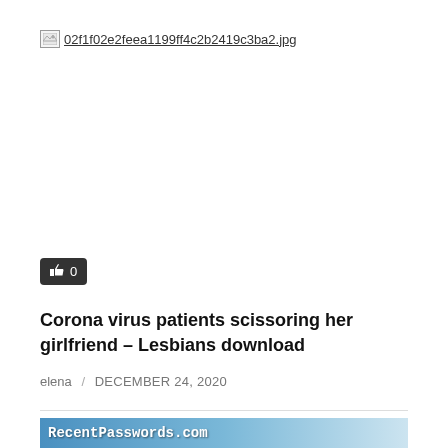[Figure (other): Broken image placeholder showing filename 02f1f02e2feea1199ff4c2b2419c3ba2.jpg]
[Figure (other): Like button widget showing thumbs up icon and count 0]
Corona virus patients scissoring her girlfriend – Lesbians download
elena / DECEMBER 24, 2020
[Figure (other): Banner advertisement for RecentPasswords.com]